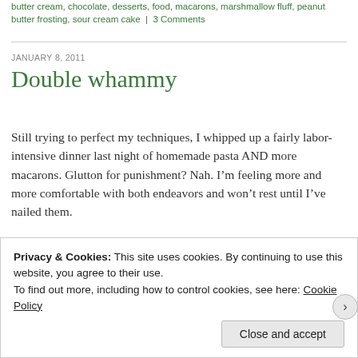butter cream, chocolate, desserts, food, macarons, marshmallow fluff, peanut butter frosting, sour cream cake | 3 Comments
Double whammy
JANUARY 8, 2011
Still trying to perfect my techniques, I whipped up a fairly labor-intensive dinner last night of homemade pasta AND more macarons. Glutton for punishment? Nah. I’m feeling more and more comfortable with both endeavors and won’t rest until I’ve nailed them.
First up, more macarons. Chocolate, to be exact. A pretty easy
Privacy & Cookies: This site uses cookies. By continuing to use this website, you agree to their use.
To find out more, including how to control cookies, see here: Cookie Policy